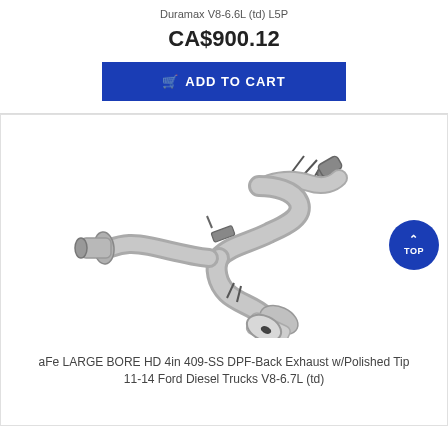Duramax V8-6.6L (td) L5P
CA$900.12
ADD TO CART
[Figure (photo): Stainless steel DPF-back exhaust system with polished tip, showing pipe assembly with Y-pipe and dual outlets]
aFe LARGE BORE HD 4in 409-SS DPF-Back Exhaust w/Polished Tip 11-14 Ford Diesel Trucks V8-6.7L (td)